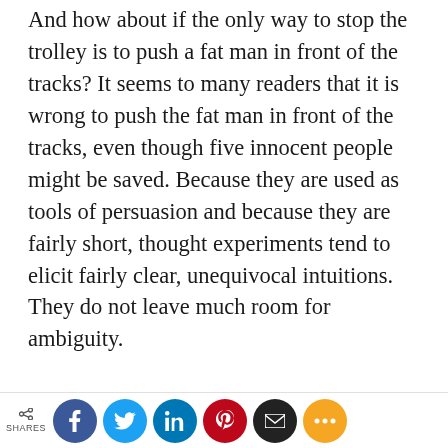And how about if the only way to stop the trolley is to push a fat man in front of the tracks? It seems to many readers that it is wrong to push the fat man in front of the tracks, even though five innocent people might be saved. Because they are used as tools of persuasion and because they are fairly short, thought experiments tend to elicit fairly clear, unequivocal intuitions. They do not leave much room for ambiguity.
Philosophical thinking can also benefit from ambiguity and open-endedness, and
SHARES | Facebook | Twitter | LinkedIn | Pinterest | Email | More